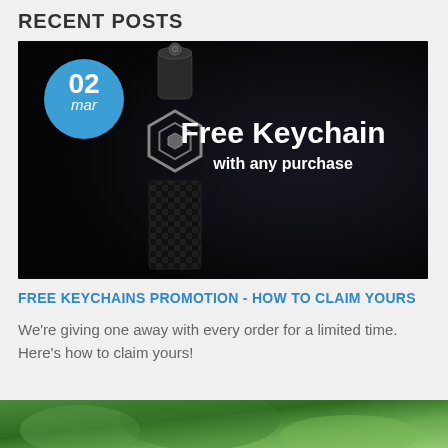RECENT POSTS
[Figure (photo): Dark promotional image of a keychain with a date badge (02 mar) in the top left corner on a blue circle, and white bold text reading 'Free Keychain with any purchase' on the right side. The keychain is metallic with a carbon fiber texture.]
FREE KEYCHAINS PROMOTION - HOW TO CLAIM YOURS
We're giving one away with every order for a limited time. Here's how to claim yours!
[Figure (photo): Partial view of a second post image at the bottom, showing a green/outdoor scene.]